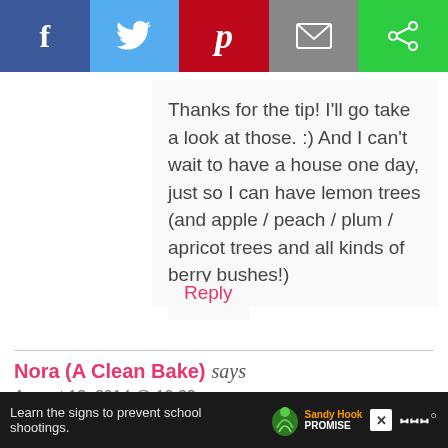[Figure (other): Social media share bar with Facebook, Twitter, Pinterest, Email, and another share button icons]
Thanks for the tip! I'll go take a look at those. :) And I can't wait to have a house one day, just so I can have lemon trees (and apple / peach / plum / apricot trees and all kinds of berry bushes!)
Reply
Nora (A Clean Bake) says
August 13, 2014 @ 10:33 pm
I'm glad you posted this because I still haven't tried honey sweetened lemonade. Kinda insane. Limes are still horrendously expensive here too. The shortage may be
[Figure (other): Advertisement bar: Sandy Hook Promise - Learn the signs to prevent school shootings]
Scroll to top